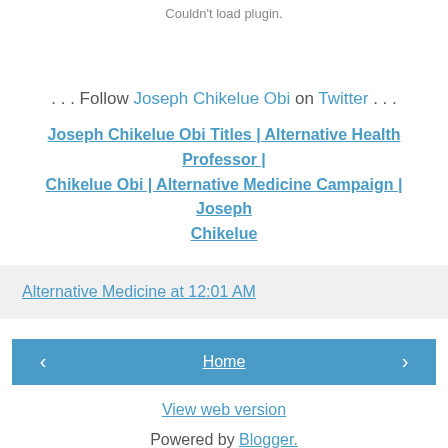Couldn't load plugin.
. . . Follow Joseph Chikelue Obi on Twitter . . .
Joseph Chikelue Obi Titles | Alternative Health Professor | Chikelue Obi | Alternative Medicine Campaign | Joseph Chikelue
Alternative Medicine at 12:01 AM
‹
Home
›
View web version
Powered by Blogger.